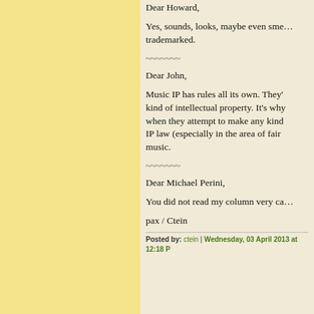Dear Howard,
Yes, sounds, looks, maybe even sme... trademarked.
~~~~~~~
Dear John,
Music IP has rules all its own. They'... kind of intellectual property. It's why... when they attempt to make any kind... IP law (especially in the area of fair ... music.
~~~~~~~
Dear Michael Perini,
You did not read my column very ca...
pax / Ctein
Posted by: ctein | Wednesday, 03 April 2013 at 12:18 P